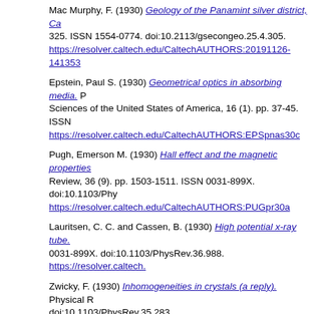Mac Murphy, F. (1930) Geology of the Panamint silver district, Ca... 325. ISSN 1554-0774. doi:10.2113/gsecongeo.25.4.305. https://resolver.caltech.edu/CaltechAUTHORS:20191126-141353
Epstein, Paul S. (1930) Geometrical optics in absorbing media. P... Sciences of the United States of America, 16 (1). pp. 37-45. ISSN... https://resolver.caltech.edu/CaltechAUTHORS:EPSpnas30c
Pugh, Emerson M. (1930) Hall effect and the magnetic properties... Review, 36 (9). pp. 1503-1511. ISSN 0031-899X. doi:10.1103/Phy... https://resolver.caltech.edu/CaltechAUTHORS:PUGpr30a
Lauritsen, C. C. and Cassen, B. (1930) High potential x-ray tube. 0031-899X. doi:10.1103/PhysRev.36.988. https://resolver.caltech....
Zwicky, F. (1930) Inhomogeneities in crystals (a reply). Physical R... doi:10.1103/PhysRev.35.283. https://resolver.caltech.edu/Caltech
Sutton, Richard M. and Mouzon, J. Carlisle (1930) Ionization of he... Review, 35 (7). pp. 694-698. ISSN 0031-899X. doi:10.1103/PhysR... https://resolver.caltech.edu/CaltechAUTHORS:SUTpr30
Bateman, H. (1930) Irrotational motion of a compressible inviscid... Sciences of the United States of America, 16 (12). pp. 816-825. IS... https://resolver.caltech.edu/CaltechAUTHORS:BATpnas30b
Bitter, Francis (1930) The Magnetic Susceptibility of Gases I. Pres... pp. 1572-1582. ISSN 0031-899X. doi:10.1103/PhysRev.35.1572...